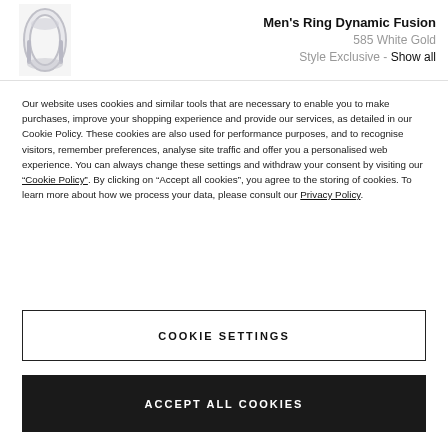[Figure (photo): Product image of a men's ring (Dynamic Fusion style) in white gold, shown at an angle against white background.]
Men's Ring Dynamic Fusion
585 White Gold
Style Exclusive - Show all
Our website uses cookies and similar tools that are necessary to enable you to make purchases, improve your shopping experience and provide our services, as detailed in our Cookie Policy. These cookies are also used for performance purposes, and to recognise visitors, remember preferences, analyse site traffic and offer you a personalised web experience. You can always change these settings and withdraw your consent by visiting our “Cookie Policy”. By clicking on “Accept all cookies”, you agree to the storing of cookies. To learn more about how we process your data, please consult our Privacy Policy.
COOKIE SETTINGS
ACCEPT ALL COOKIES